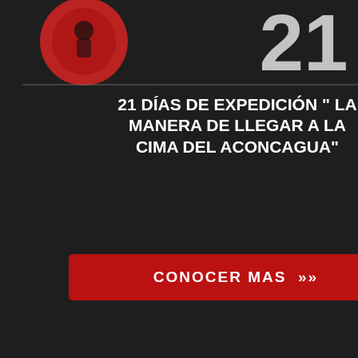[Figure (photo): Dark hero image with large number 21, red figure/apple graphic, expedition text on dark background with red call-to-action button]
21 DÍAS DE EXPEDICIÓN " LA MANERA DE LLEGAR A LA CIMA DEL ACONCAGUA"
CONOCER MAS »
NEWSLETTER
Nombre
E-Mail
SUSCRIBIRME
Transport System
After we have weighed and prep in our trucks from Mendoza to ou transported by mules to our depo expedition.
Safety
All the above described actions h
Recommendations
Each mule can transport up to 60 provide you with them at no extra
Prices
Our prices include: organization i in our vehicles, mules, mules kee Mulas) or Penitentes-Punta de V
Special Prices
For larger expeditions: please as
Inquiries about season 2007/200